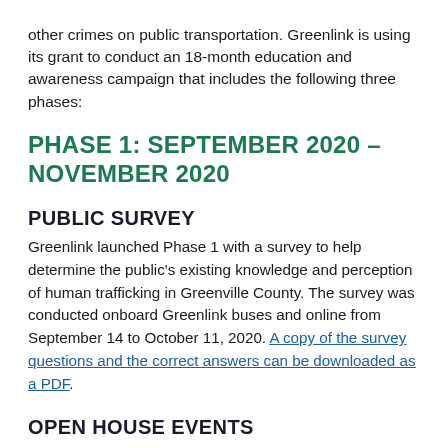other crimes on public transportation. Greenlink is using its grant to conduct an 18-month education and awareness campaign that includes the following three phases:
PHASE 1: SEPTEMBER 2020 – NOVEMBER 2020
PUBLIC SURVEY
Greenlink launched Phase 1 with a survey to help determine the public's existing knowledge and perception of human trafficking in Greenville County. The survey was conducted onboard Greenlink buses and online from September 14 to October 11, 2020. A copy of the survey questions and the correct answers can be downloaded as a PDF.
OPEN HOUSE EVENTS